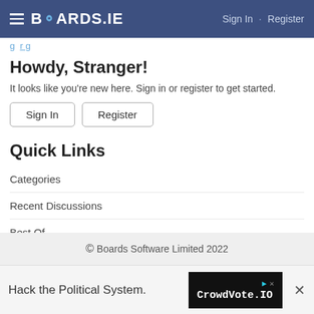BOARDS.IE  Sign In · Register
Howdy, Stranger!
It looks like you're new here. Sign in or register to get started.
Sign In  Register
Quick Links
Categories
Recent Discussions
Best Of...
Unanswered  100+
Groups
© Boards Software Limited 2022
[Figure (other): Advertisement banner: 'Hack the Political System.' with CrowdVote.IO logo]